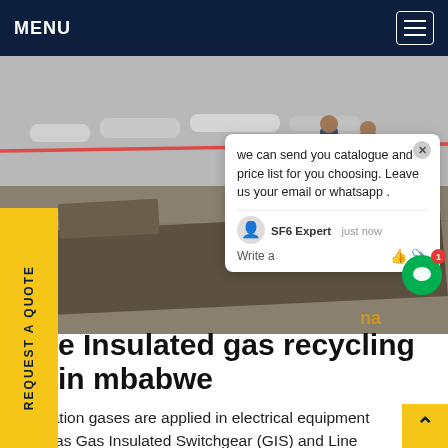MENU
[Figure (photo): Industrial outdoor scene showing large metal plates and equipment on a concrete surface, with workers in blue uniforms visible in the background, various cylindrical tanks and a cardboard box visible.]
we can send you catalogue and price list for you choosing. Leave us your email or whatsapp .
SF6 Expert   just now
Write a
e Insulated gas recycling in mbabwe
Insulation gases are applied in electrical equipment such as Gas Insulated Switchgear (GIS) and Line (GIL), high- and medium-voltage circuit breakers